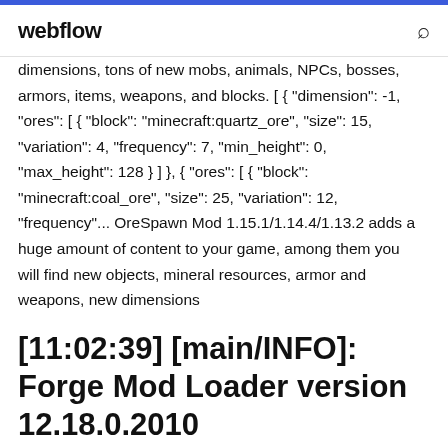webflow
dimensions, tons of new mobs, animals, NPCs, bosses, armors, items, weapons, and blocks. [ { "dimension": -1, "ores": [ { "block": "minecraft:quartz_ore", "size": 15, "variation": 4, "frequency": 7, "min_height": 0, "max_height": 128 } ] }, { "ores": [ { "block": "minecraft:coal_ore", "size": 25, "variation": 12, "frequency"... OreSpawn Mod 1.15.1/1.14.4/1.13.2 adds a huge amount of content to your game, among them you will find new objects, mineral resources, armor and weapons, new dimensions
[11:02:39] [main/INFO]: Forge Mod Loader version 12.18.0.2010